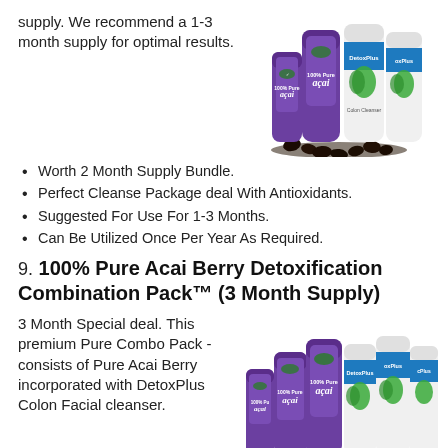supply. We recommend a 1-3 month supply for optimal results.
[Figure (photo): Group of supplement bottles: two purple 100% Pure Acai bottles and two white DetoxPlus bottles with dark capsules/berries in front]
Worth 2 Month Supply Bundle.
Perfect Cleanse Package deal With Antioxidants.
Suggested For Use For 1-3 Months.
Can Be Utilized Once Per Year As Required.
9. 100% Pure Acai Berry Detoxification Combination Pack™ (3 Month Supply)
3 Month Special deal. This premium Pure Combo Pack - consists of Pure Acai Berry incorporated with DetoxPlus Colon Facial cleanser.
[Figure (photo): Group of supplement bottles: three purple 100% Pure Acai bottles and three white DetoxPlus bottles with dark capsules/berries in front]